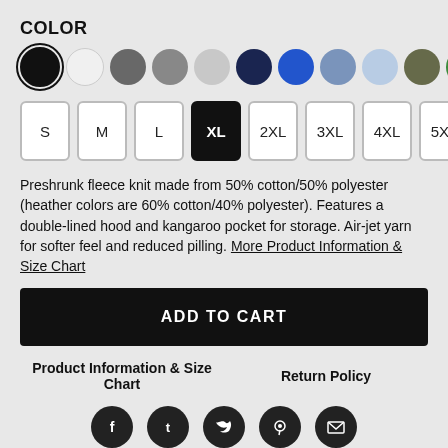COLOR
[Figure (other): Color swatch selector with 13 circular color swatches: black (selected with ring), white, dark gray, medium gray, light gray, navy, blue, slate blue, light blue, olive, green, red, dark red/maroon]
[Figure (other): Size selector buttons: S, M, L, XL (selected in black), 2XL, 3XL, 4XL, 5XL]
Preshrunk fleece knit made from 50% cotton/50% polyester (heather colors are 60% cotton/40% polyester). Features a double-lined hood and kangaroo pocket for storage. Air-jet yarn for softer feel and reduced pilling. More Product Information & Size Chart
ADD TO CART
Product Information & Size Chart    Return Policy
[Figure (other): Social media icons row: Facebook, Tumblr, Twitter, Pinterest, Email (all dark circular icons)]
We Can Say It! is also available on